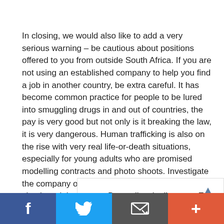In closing, we would also like to add a very serious warning – be cautious about positions offered to you from outside South Africa. If you are not using an established company to help you find a job in another country, be extra careful. It has become common practice for people to be lured into smuggling drugs in and out of countries, the pay is very good but not only is it breaking the law, it is very dangerous. Human trafficking is also on the rise with very real life-or-death situations, especially for young adults who are promised modelling contracts and photo shoots. Investigate the company offering you the job, do research, check social media and if something doesn't look
[Figure (other): Advertisement banner for Exxon showing logo and text 'Boost diesel mileage at Exxon' with an arrow icon]
[Figure (other): Social sharing bar with Facebook, Twitter, email, and more buttons]